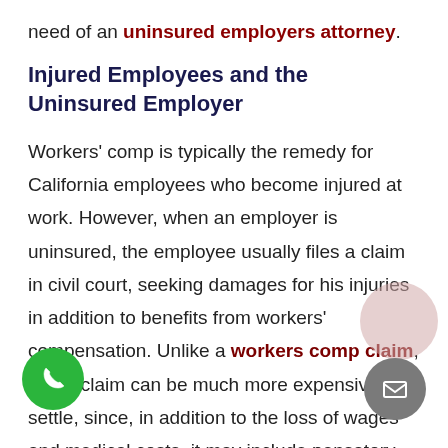need of an uninsured employers attorney.
Injured Employees and the Uninsured Employer
Workers' comp is typically the remedy for California employees who become injured at work. However, when an employer is uninsured, the employee usually files a claim in civil court, seeking damages for his injuries in addition to benefits from workers' compensation. Unlike a workers comp claim, a civil claim can be much more expensive to settle, since, in addition to the loss of wages and medical costs, it may include compensatory awards and, in some cases,